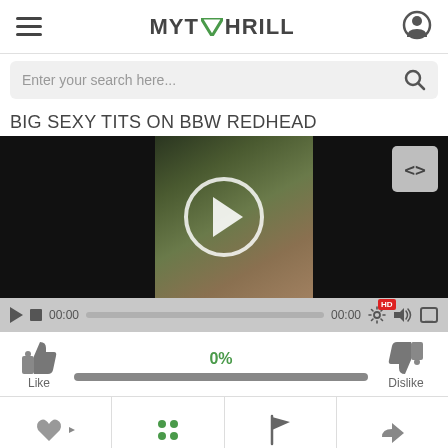MY THRILL
Enter your search here...
BIG SEXY TITS ON BBW REDHEAD
[Figure (screenshot): Video player showing a paused video with play button overlay, embed button top-right, black areas on sides with thumbnail in center]
00:00  00:00  HD
0%
Like  Dislike
[Figure (infographic): Action buttons row: favorite/heart, playlist, flag/report, share]